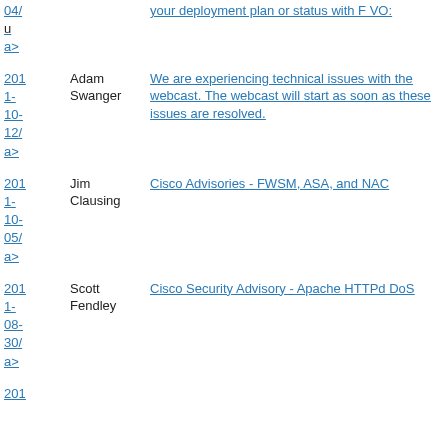| Date | Author | Link |
| --- | --- | --- |
| 04/ u a> |  | your deployment plan or status with F VO: |
| 201 1- 10- 12/ a> | Adam Swanger | We are experiencing technical issues with the webcast. The webcast will start as soon as these issues are resolved. |
| 201 1- 10- 05/ a> | Jim Clausing | Cisco Advisories - FWSM, ASA, and NAC |
| 201 1- 08- 30/ a> | Scott Fendley | Cisco Security Advisory - Apache HTTPd DoS |
| 201 |  |  |